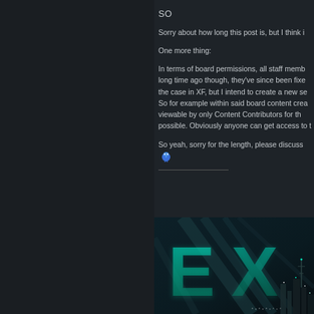SO
Sorry about how long this post is, but I think i
One more thing:
In terms of board permissions, all staff memb... long time ago though, they've since been fixe... the case in XF, but I intend to create a new se... So for example within said board content crea... viewable by only Content Contributors for th... possible. Obviously anyone can get access to t
So yeah, sorry for the length, please discuss
[Figure (illustration): Dark sci-fi background image featuring large glowing teal/cyan letters 'EX' with city structures and lights in a dark futuristic setting]